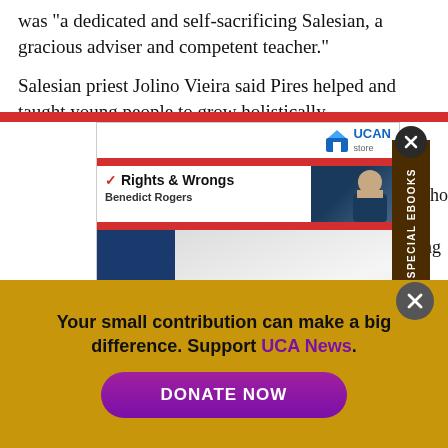was "a dedicated and self-sacrificing Salesian, a gracious adviser and competent teacher."
Salesian priest Jolino Vieira said Pires helped and taught young people to grow holistically.
[Figure (screenshot): UCAN store advertisement showing 'Rights & Wrongs' by Benedict Rogers ebook promotion with red banner and book cover]
e to help st, who co aining
ed
Your small contribution can make a big difference. Support UCA News.
DONATE NOW